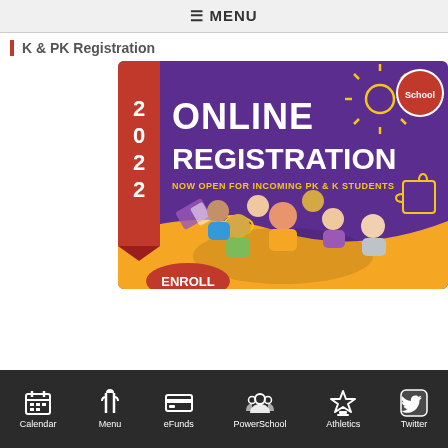☰ MENU
K & PK Registration
[Figure (infographic): 2022 Online Registration promotional banner - Now Open for Incoming PK & K Students, with children photo and ENROLL button]
Calendar | Menu | eFunds | PowerSchool | Athletics | Twitter